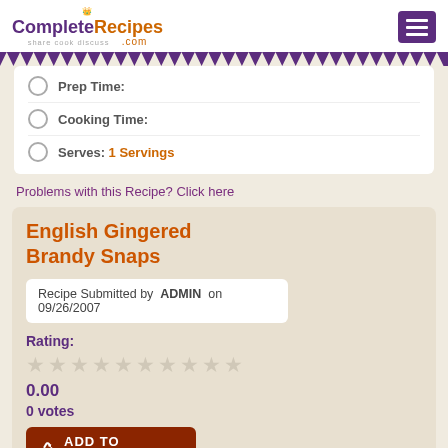CompleteRecipes.com — share cook discuss
Prep Time:
Cooking Time:
Serves: 1 Servings
Problems with this Recipe? Click here
English Gingered Brandy Snaps
Recipe Submitted by ADMIN on 09/26/2007
Rating:
0.00
0 votes
ADD TO COOKBOOK